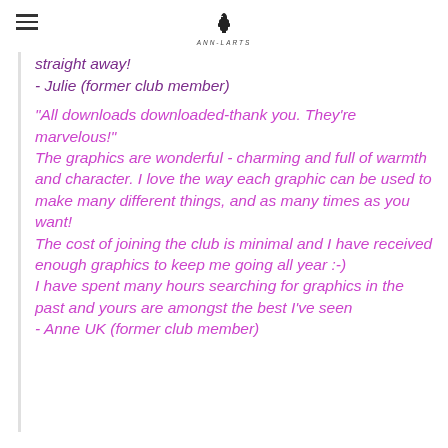Ann-Larts logo / hamburger menu
straight away!
- Julie (former club member)
"All downloads downloaded-thank you. They're marvelous!"
The graphics are wonderful - charming and full of warmth and character. I love the way each graphic can be used to make many different things, and as many times as you want!
The cost of joining the club is minimal and I have received enough graphics to keep me going all year :-)
I have spent many hours searching for graphics in the past and yours are amongst the best I've seen
- Anne UK (former club member)